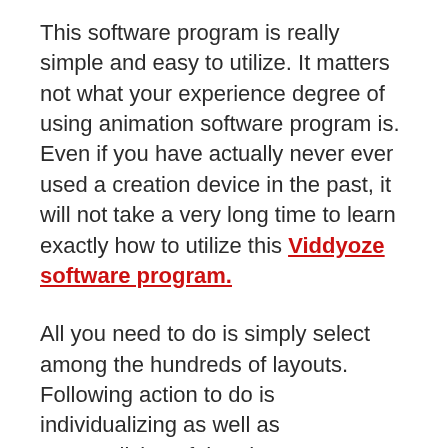This software program is really simple and easy to utilize. It matters not what your experience degree of using animation software program is. Even if you have actually never ever used a creation device in the past, it will not take a very long time to learn exactly how to utilize this Viddyoze software program.
All you need to do is simply select among the hundreds of layouts. Following action to do is individualizing as well as personalizing of that theme to your use. You can likewise edit as well as change things on the screen, include your very own logo design, message, images, adjustment colors as well as several various other things.
The last step is struck the make button and